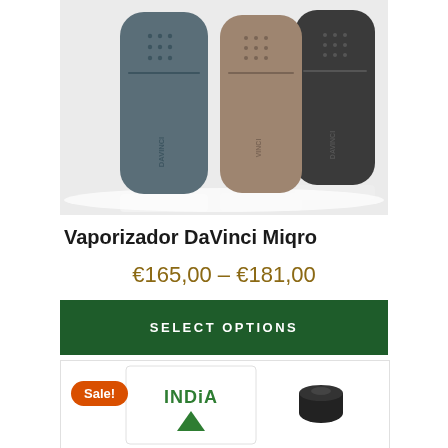[Figure (photo): Three DaVinci Miqro vaporizers in blue/slate, tan/brown, and black colors, shown from the front, slightly overlapping, with dot-pattern LED indicators at top and DAVINCI branding on body]
Vaporizador DaVinci Miqro
€165,00 – €181,00
SELECT OPTIONS
[Figure (photo): Sale section showing India brand product packaging (white card with green INDIA logo and green triangle/leaf icon) alongside a black cylindrical vaporizer accessory on white background]